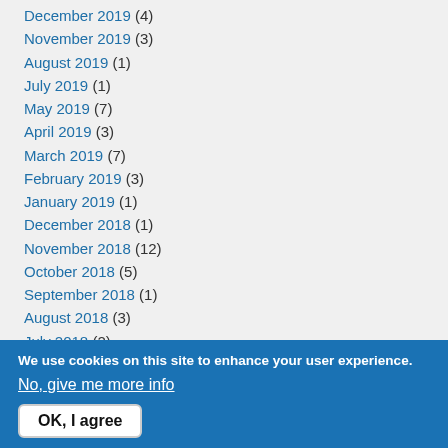December 2019 (4)
November 2019 (3)
August 2019 (1)
July 2019 (1)
May 2019 (7)
April 2019 (3)
March 2019 (7)
February 2019 (3)
January 2019 (1)
December 2018 (1)
November 2018 (12)
October 2018 (5)
September 2018 (1)
August 2018 (3)
July 2018 (2)
We use cookies on this site to enhance your user experience.
No, give me more info
OK, I agree